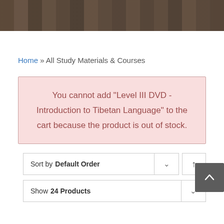[Figure (photo): Dark brown textured background image, appears to show Tibetan scrolls or wooden blocks stacked together]
Home » All Study Materials & Courses
You cannot add "Level III DVD - Introduction to Tibetan Language" to the cart because the product is out of stock.
Sort by Default Order
Show 24 Products